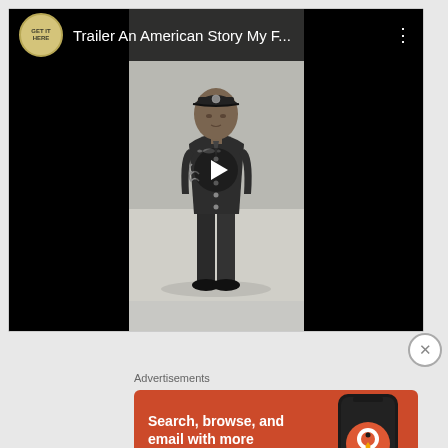[Figure (screenshot): YouTube-style video player showing a black-and-white photo of a man in military uniform. Top bar shows a circular logo with 'GET IT HERE' text, title 'Trailer An American Story My F...', and a three-dot menu icon. A white play button triangle is centered over the image.]
[Figure (screenshot): DuckDuckGo advertisement banner with orange background. Text reads 'Search, browse, and email with more privacy. All in One Free App' with a phone mockup showing the DuckDuckGo logo and brand name.]
Advertisements